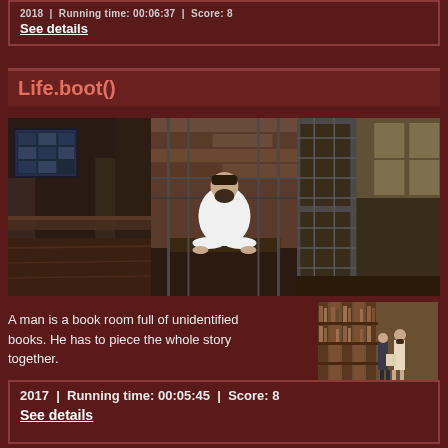2018  |  Running time: 00:06:37  |  Score: 8
See details
Life.boot()
[Figure (photo): Composite of three panels: left shows a warehouse interior with machinery and a screen; center shows a bearded man in white clothes sitting cross-legged in an industrial cage setting; right shows metal shelving/cages in an industrial space.]
A man is a book room full of unidentified books. He has to piece the whole story together.
[Figure (photo): Thumbnail of two men in a library/archive room with tall wooden shelves full of books or files.]
2017  |  Running time: 00:05:45  |  Score: 8
See details